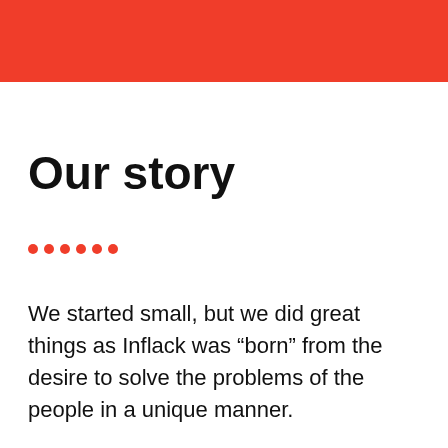[Figure (other): Red horizontal banner bar at the top of the page]
Our story
• • • • • •
We started small, but we did great things as Inflack was “born” from the desire to solve the problems of the people in a unique manner.